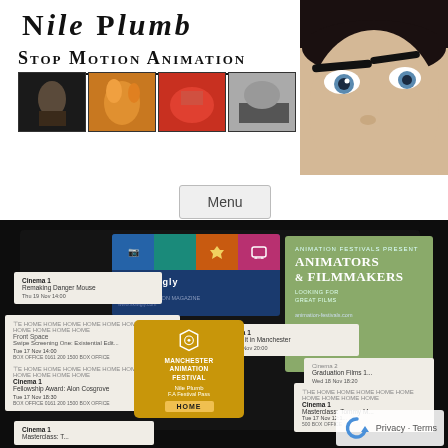Nile Plumb
Stop Motion Animation
[Figure (photo): Four thumbnail images from stop motion animation portfolio]
[Figure (photo): Photo of a person's face looking up — partial head visible at top right]
Menu
[Figure (photo): Photograph of Manchester Animation Festival passes, tickets and cards spread on a dark surface including Skwigly branding card, Animators & Filmmakers card, Manchester Animation Festival golden pass for Nile Plumb (F.A Festival Pass), and several cinema screening tickets showing events like Remaking Danger Mouse, Swipe Screening One: Existential Edit, Fellowship Award: Alon Cosgrove, Making it in Manchester, Graduation Films, and Masterclass sessions. Bottom right shows Google reCAPTCHA icon and Privacy · Terms text.]